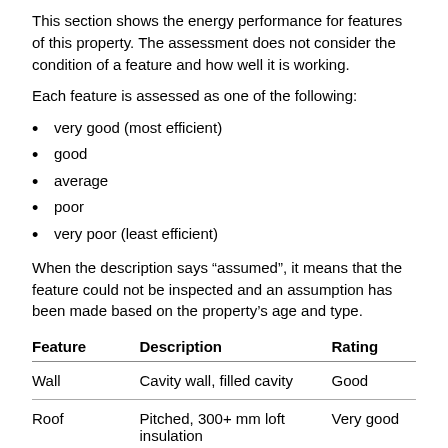This section shows the energy performance for features of this property. The assessment does not consider the condition of a feature and how well it is working.
Each feature is assessed as one of the following:
very good (most efficient)
good
average
poor
very poor (least efficient)
When the description says “assumed”, it means that the feature could not be inspected and an assumption has been made based on the property’s age and type.
| Feature | Description | Rating |
| --- | --- | --- |
| Wall | Cavity wall, filled cavity | Good |
| Roof | Pitched, 300+ mm loft insulation | Very good |